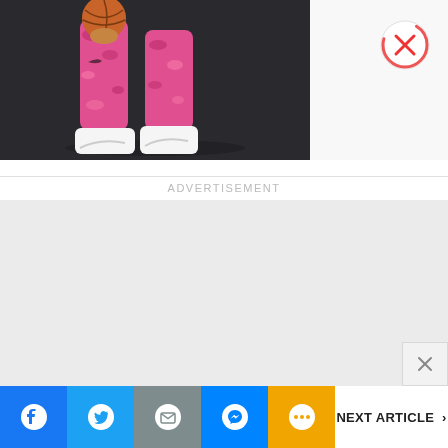[Figure (photo): Basketball player legs wearing pink camo pants and white Nike shoes, holding a basketball, dark background]
[Figure (other): Close button: red X icon in circular progress border, top right corner]
ADVERTISEMENT
[Figure (other): Gray advertisement placeholder area]
[Figure (other): Small X dismiss button, bottom right of ad area]
[Figure (other): Bottom social share bar with Facebook, Twitter, Mail, Messenger, More buttons and NEXT ARTICLE link]